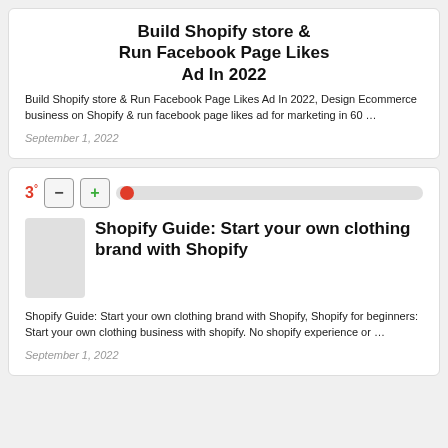Build Shopify store & Run Facebook Page Likes Ad In 2022
Build Shopify store & Run Facebook Page Likes Ad In 2022, Design Ecommerce business on Shopify & run facebook page likes ad for marketing in 60 …
September 1, 2022
Shopify Guide: Start your own clothing brand with Shopify
Shopify Guide: Start your own clothing brand with Shopify, Shopify for beginners: Start your own clothing business with shopify. No shopify experience or …
September 1, 2022